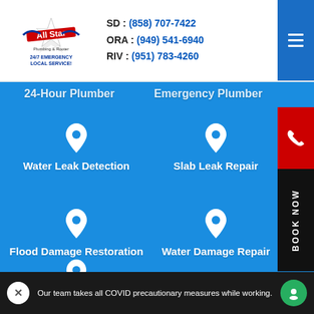[Figure (logo): All Star Plumbing logo with star graphic and company name]
24/7 EMERGENCY LOCAL SERVICE!
SD : (858) 707-7422
ORA : (949) 541-6940
RIV : (951) 783-4260
24-Hour Plumber
Emergency Plumber
Water Leak Detection
Slab Leak Repair
Flood Damage Restoration
Water Damage Repair
Water Heater Repair
BOOK NOW
Our team takes all COVID precautionary measures while working.